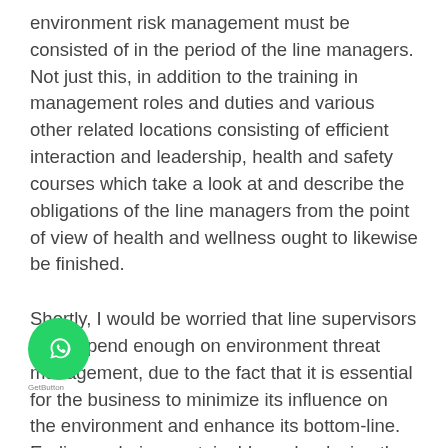environment risk management must be consisted of in the period of the line managers. Not just this, in addition to the training in management roles and duties and various other related locations consisting of efficient interaction and leadership, health and safety courses which take a look at and describe the obligations of the line managers from the point of view of health and wellness ought to likewise be finished.
Shortly, I would be worried that line supervisors won't spend enough on environment threat management, due to the fact that it is essential for the business to minimize its influence on the environment and enhance its bottom-line. Ending up being sustainable and reducing the waste would result in waste, water and energy management savings. Not only this, it would also